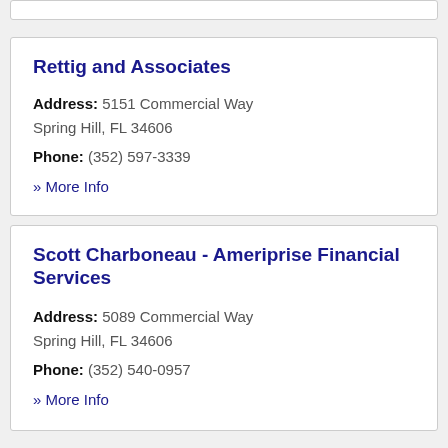Rettig and Associates
Address: 5151 Commercial Way Spring Hill, FL 34606
Phone: (352) 597-3339
» More Info
Scott Charboneau - Ameriprise Financial Services
Address: 5089 Commercial Way Spring Hill, FL 34606
Phone: (352) 540-0957
» More Info